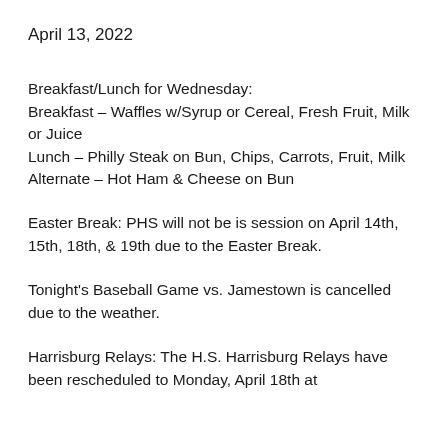April 13, 2022
Breakfast/Lunch for Wednesday:
Breakfast – Waffles w/Syrup or Cereal, Fresh Fruit, Milk or Juice
Lunch – Philly Steak on Bun, Chips, Carrots, Fruit, Milk
Alternate – Hot Ham & Cheese on Bun
Easter Break: PHS will not be is session on April 14th, 15th, 18th, & 19th due to the Easter Break.
Tonight's Baseball Game vs. Jamestown is cancelled due to the weather.
Harrisburg Relays: The H.S. Harrisburg Relays have been rescheduled to Monday, April 18th at